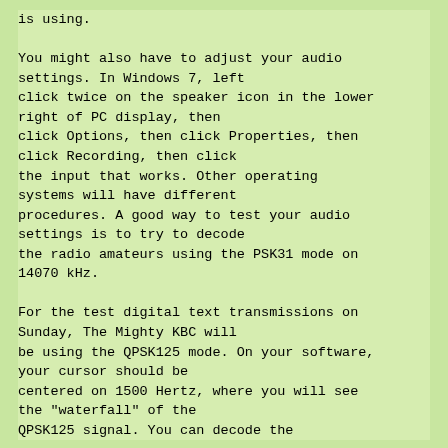is using.

You might also have to adjust your audio settings. In Windows 7, left click twice on the speaker icon in the lower right of PC display, then click Options, then click Properties, then click Recording, then click the input that works. Other operating systems will have different procedures. A good way to test your audio settings is to try to decode the radio amateurs using the PSK31 mode on 14070 kHz.

For the test digital text transmissions on Sunday, The Mighty KBC will be using the QPSK125 mode. On your software, your cursor should be centered on 1500 Hertz, where you will see the "waterfall" of the QPSK125 signal. You can decode the